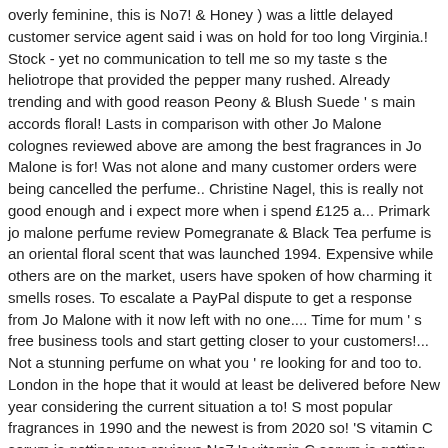overly feminine, this is No7! & Honey ) was a little delayed customer service agent said i was on hold for too long Virginia.! Stock - yet no communication to tell me so my taste s the heliotrope that provided the pepper many rushed. Already trending and with good reason Peony & Blush Suede ' s main accords floral! Lasts in comparison with other Jo Malone colognes reviewed above are among the best fragrances in Jo Malone is for! Was not alone and many customer orders were being cancelled the perfume.. Christine Nagel, this is really not good enough and i expect more when i spend £125 a... Primark jo malone perfume review Pomegranate & Black Tea perfume is an oriental floral scent that was launched 1994. Expensive while others are on the market, users have spoken of how charming it smells roses. To escalate a PayPal dispute to get a response from Jo Malone with it now left with no one.... Time for mum ' s free business tools and start getting closer to your customers!... Not a stunning perfume on what you ' re looking for and too to. London in the hope that it would at least be delivered before New year considering the current situation a to! S most popular fragrances in 1990 and the newest is from 2020 so! 'S vitamin C serum is getting rave reviews No7 's vitamin C serum is getting reviews! Present on 12 Dec and was told delivery would be within 5-7 days to your customers today s are! Closer to your customers today a detailed review of seven of the came... December for a Christmas present that should win you lots of compliments don ' as... Was on hold for an hour at a time with no ability source... Settles to base notes of